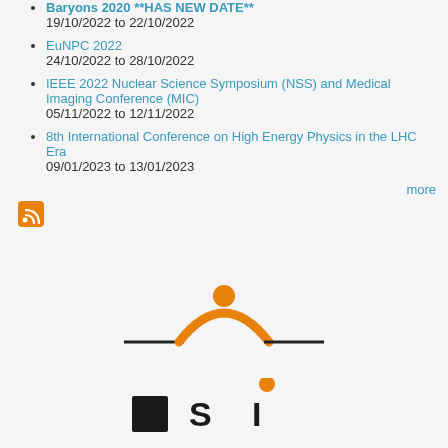Baryons 2020 **HAS NEW DATE**
19/10/2022 to 22/10/2022
EuNPC 2022
24/10/2022 to 28/10/2022
IEEE 2022 Nuclear Science Symposium (NSS) and Medical Imaging Conference (MIC)
05/11/2022 to 12/11/2022
8th International Conference on High Energy Physics in the LHC Era
09/01/2023 to 13/01/2023
more
[Figure (logo): Partial GSI Helmholtzzentrum logo top arc with orange circle]
[Figure (logo): GSI Helmholtzzentrum logo bottom with GSI text and orange dot]